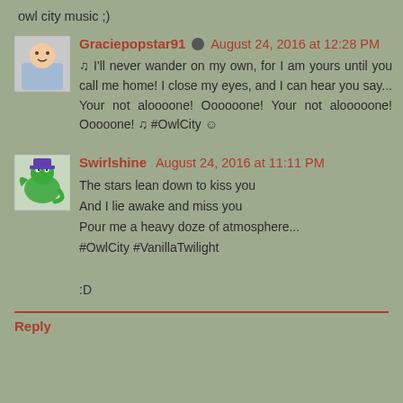owl city music ;)
Graciepopstar91 ✏ August 24, 2016 at 12:28 PM
♪ I'll never wander on my own, for I am yours until you call me home! I close my eyes, and I can hear you say... Your not aloooone! Oooooone! Your not alooooone! Ooooone! ♪ #OwlCity ☺
Swirlshine August 24, 2016 at 11:11 PM
The stars lean down to kiss you
And I lie awake and miss you
Pour me a heavy doze of atmosphere...
#OwlCity #VanillaTwilight

:D
Reply